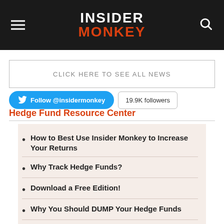INSIDER MONKEY
CLICK HERE TO SEE ALL NEWS
Follow @insidermonkey  19.9K followers
Hedge Fund Resource Center
How to Best Use Insider Monkey to Increase Your Returns
Why Track Hedge Funds?
Download a Free Edition!
Why You Should DUMP Your Hedge Funds
6 Things You Didn't Know About